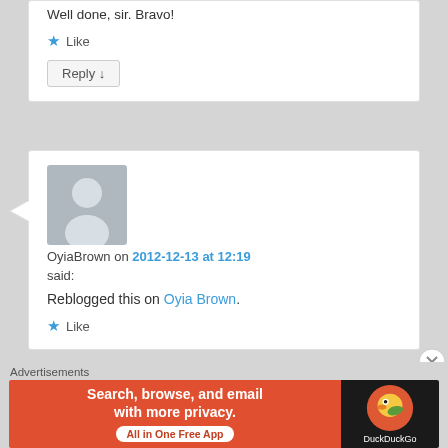Well done, sir. Bravo!
★ Like
Reply ↓
[Figure (illustration): User avatar placeholder - grey silhouette on grey background]
OyiaBrown on 2012-12-13 at 12:19
said:
Reblogged this on Oyia Brown.
★ Like
Advertisements
[Figure (infographic): DuckDuckGo advertisement banner: orange left side with text 'Search, browse, and email with more privacy. All in One Free App', dark right side with DuckDuckGo logo]